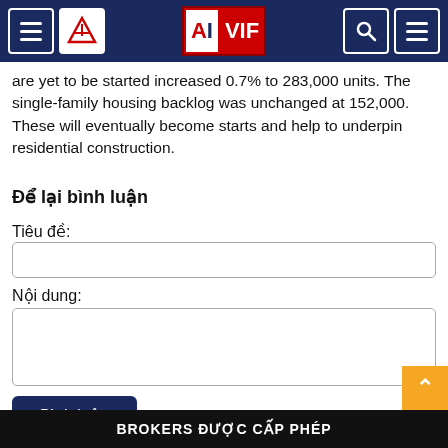AIVIF navigation header
are yet to be started increased 0.7% to 283,000 units. The single-family housing backlog was unchanged at 152,000. These will eventually become starts and help to underpin residential construction.
Để lại bình luận
Tiêu đề:
Nội dung:
Bình luận
BROKERS ĐƯỢC CẤP PHÉP